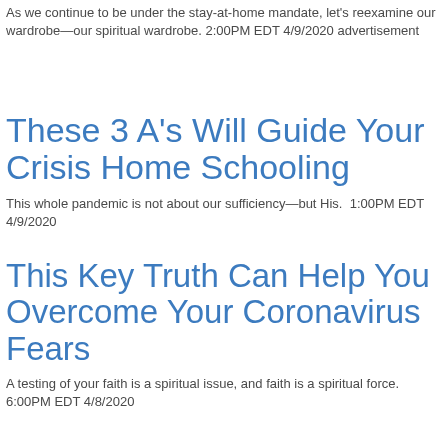As we continue to be under the stay-at-home mandate, let's reexamine our wardrobe—our spiritual wardrobe. 2:00PM EDT 4/9/2020 advertisement
These 3 A's Will Guide Your Crisis Home Schooling
This whole pandemic is not about our sufficiency—but His.  1:00PM EDT 4/9/2020
This Key Truth Can Help You Overcome Your Coronavirus Fears
A testing of your faith is a spiritual issue, and faith is a spiritual force. 6:00PM EDT 4/8/2020